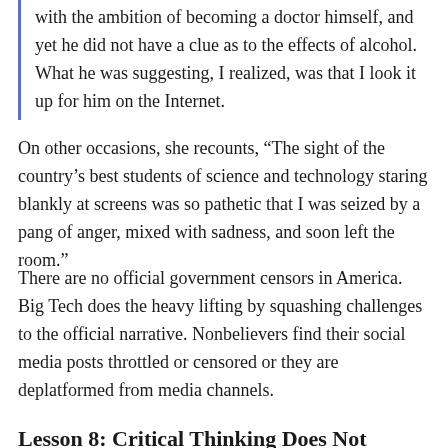with the ambition of becoming a doctor himself, and yet he did not have a clue as to the effects of alcohol. What he was suggesting, I realized, was that I look it up for him on the Internet.
On other occasions, she recounts, “The sight of the country’s best students of science and technology staring blankly at screens was so pathetic that I was seized by a pang of anger, mixed with sadness, and soon left the room.”
There are no official government censors in America. Big Tech does the heavy lifting by squashing challenges to the official narrative. Nonbelievers find their social media posts throttled or censored or they are deplatformed from media channels.
Lesson 8: Critical Thinking Does Not